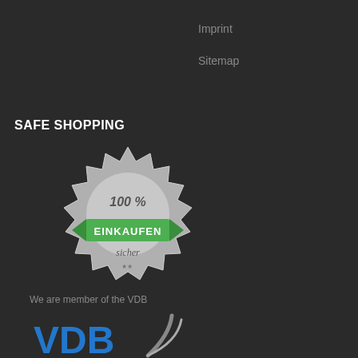Imprint
Sitemap
SAFE SHOPPING
[Figure (logo): Badge/seal showing '100 % EINKAUFEN sicher' with a star-burst silver badge and green ribbon banner]
We are member of the VDB
[Figure (logo): VDB logo - Verband Deutscher Büchsenmacher und Waffenfachhändler e.V. - blue letters VDB with grey arc/swoosh]